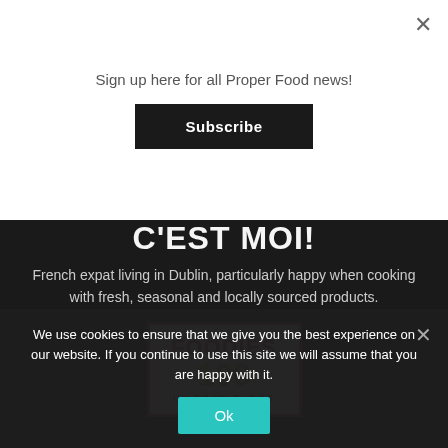Sign up here for all Proper Food news!
Subscribe
C'EST MOI!
French expat living in Dublin, particularly happy when cooking with fresh, seasonal and locally sourced products.
[Figure (logo): Foodies 100 UK Food Blogs badge with red border, red FOODIES text, green 100 number, red UK FOOD BLOGS text]
We use cookies to ensure that we give you the best experience on our website. If you continue to use this site we will assume that you are happy with it.
Ok